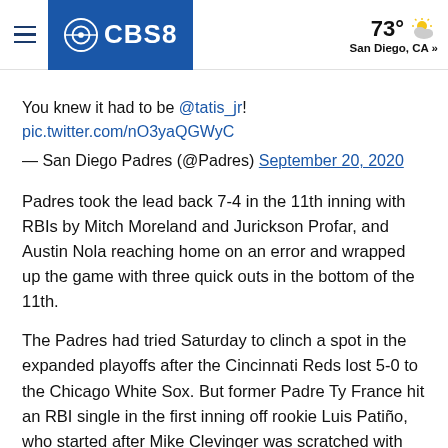CBS8 | 73° San Diego, CA »
You knew it had to be @tatis_jr!
pic.twitter.com/nO3yaQGWyC

— San Diego Padres (@Padres) September 20, 2020
Padres took the lead back 7-4 in the 11th inning with RBIs by Mitch Moreland and Jurickson Profar, and Austin Nola reaching home on an error and wrapped up the game with three quick outs in the bottom of the 11th.
The Padres had tried Saturday to clinch a spot in the expanded playoffs after the Cincinnati Reds lost 5-0 to the Chicago White Sox. But former Padre Ty France hit an RBI single in the first inning off rookie Luis Patiño, who started after Mike Clevinger was scratched with biceps tightness, and Luis Torrens had a two-run double in the third off former Mariners reliever Dan Altavilla.